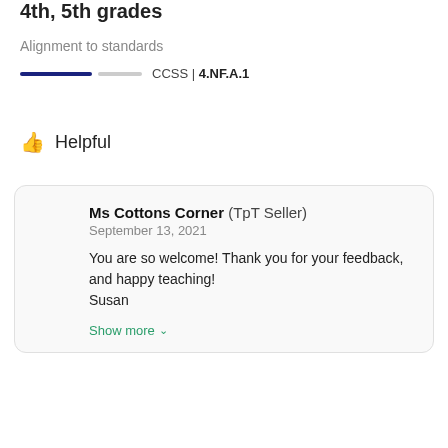4th, 5th grades
Alignment to standards
CCSS | 4.NF.A.1
👍 Helpful
Ms Cottons Corner (TpT Seller)
September 13, 2021
You are so welcome!  Thank you for your feedback, and happy teaching!
Susan
Show more